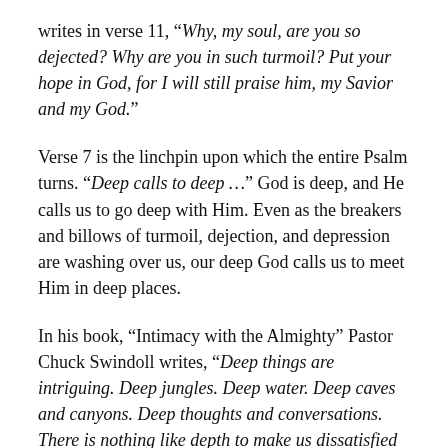writes in verse 11, “Why, my soul, are you so dejected? Why are you in such turmoil? Put your hope in God, for I will still praise him, my Savior and my God.”
Verse 7 is the linchpin upon which the entire Psalm turns. “Deep calls to deep …” God is deep, and He calls us to go deep with Him. Even as the breakers and billows of turmoil, dejection, and depression are washing over us, our deep God calls us to meet Him in deep places.
In his book, “Intimacy with the Almighty” Pastor Chuck Swindoll writes, “Deep things are intriguing. Deep jungles. Deep water. Deep caves and canyons. Deep thoughts and conversations. There is nothing like depth to make us dissatisfied with superficial, shallow things. Once we have delved below the surface and had a taste of the marvels and mysteries of the deep, we realize the value of taking the